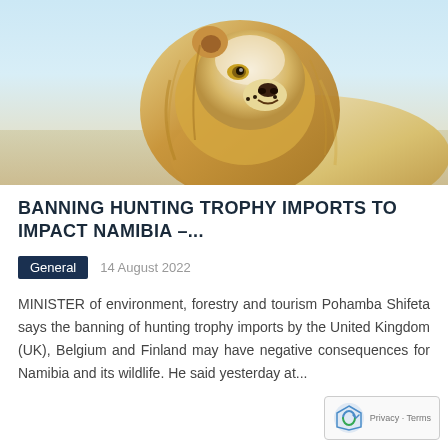[Figure (photo): Close-up photo of a male lion with golden mane against a light savanna background, facing right with mouth slightly open]
BANNING HUNTING TROPHY IMPORTS TO IMPACT NAMIBIA –...
General
14 August 2022
MINISTER of environment, forestry and tourism Pohamba Shifeta says the banning of hunting trophy imports by the United Kingdom (UK), Belgium and Finland may have negative consequences for Namibia and its wildlife. He said yesterday at...